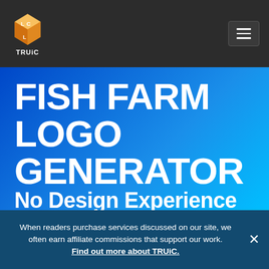TRUiC
FISH FARM LOGO GENERATOR
No Design Experience
When readers purchase services discussed on our site, we often earn affiliate commissions that support our work. Find out more about TRUiC.